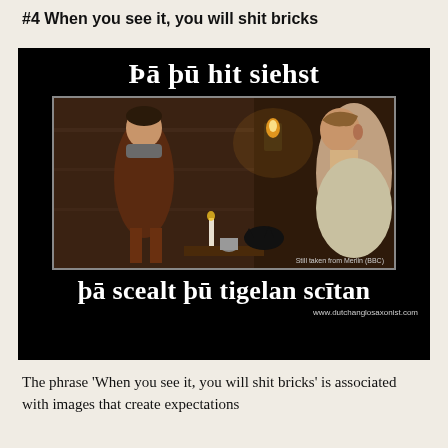#4 When you see it, you will shit bricks
[Figure (other): Internet meme image with black background. Top text in white serif: 'Þā þū hit siehst'. Center contains a still image from Merlin (BBC) showing two young men in medieval clothing in a dimly lit room. Bottom text in white serif: 'þā scealt þū tigelan scītan'. URL at bottom right: www.dutchanglosaxonist.com]
The phrase 'When you see it, you will shit bricks' is associated with images that create expectations...